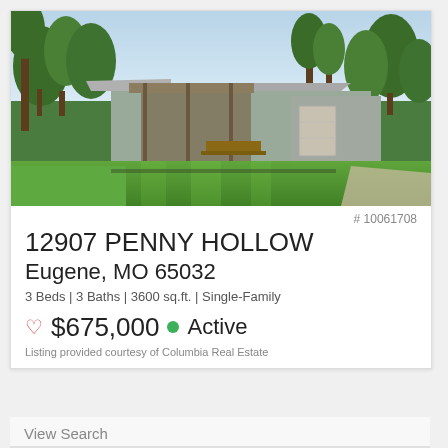[Figure (photo): Exterior photo of a single-family barndominium-style home with green lawn, trees, and clear sky. Metal roof building with attached garage.]
# 10061708
12907 PENNY HOLLOW
Eugene, MO 65032
3 Beds | 3 Baths | 3600 sq.ft. | Single-Family
♡ $675,000 ● Active
Listing provided courtesy of Columbia Real Estate
View Search